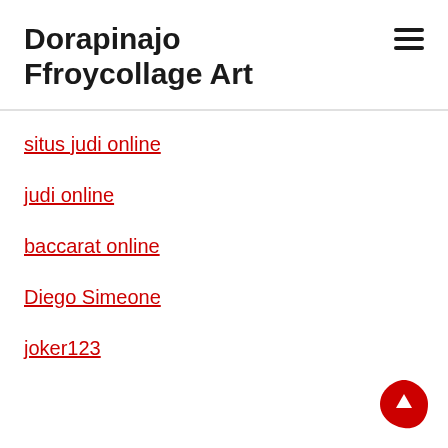Dorapinajo Ffroycollage Art
situs judi online
judi online
baccarat online
Diego Simeone
joker123